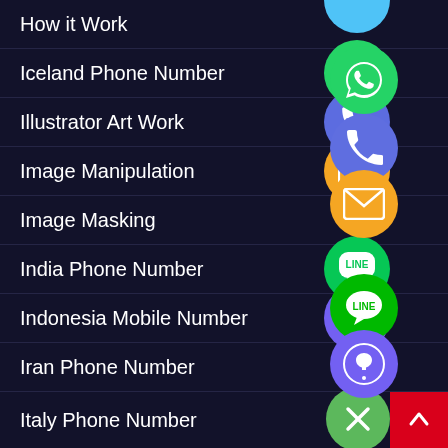How it Work
Iceland Phone Number
Illustrator Art Work
Image Manipulation
Image Masking
India Phone Number
Indonesia Mobile Number
Iran Phone Number
Italy Phone Number